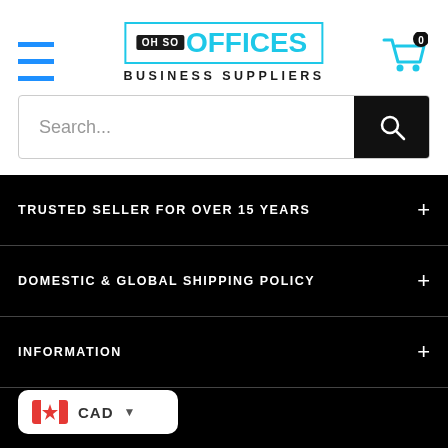[Figure (logo): Oh So Offices Business Suppliers logo with hamburger menu and cart icon]
Search...
TRUSTED SELLER FOR OVER 15 YEARS
DOMESTIC & GLOBAL SHIPPING POLICY
INFORMATION
CAD